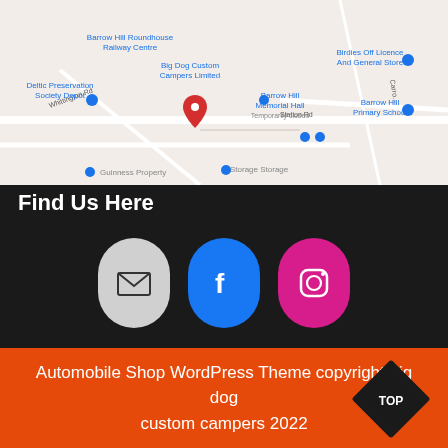[Figure (map): Google Maps screenshot showing location of Big Dog Custom Campers Limited near Barrow Hill, with surrounding landmarks including Barrow Hill Roundhouse Railway Centre, Deltic Preservation Society Depot, Guinness Property, Storage Storage, Barrow Hill Memorial Hall, Barrow Hill Primary School, and Birdies Off Licence And General Store. A red location pin marks the business.]
Find Us Here
[Figure (infographic): Three social media icon buttons: email (grey pill), Facebook (blue pill with f logo), Instagram (pink/magenta pill with camera logo)]
[Figure (infographic): Green rounded rectangle button with WhatsApp logo and text 'Chat on WhatsApp']
Automobile Shop WordPress Theme copyright big dog custom campers 2022
[Figure (infographic): Black diamond shape with white text 'TOP']